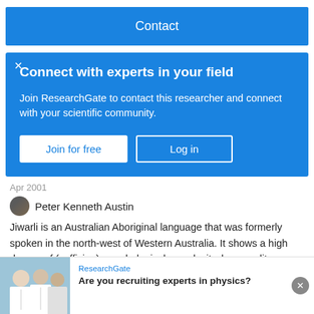Contact
Connect with experts in your field
Join ResearchGate to contact this researcher and connect with your scientific community.
Join for free   Log in
Apr 2001
Peter Kenneth Austin
Jiwarli is an Australian Aboriginal language that was formerly spoken in the north-west of Western Australia. It shows a high degree of (suffixing) morphological complexity, has a split-
[Figure (screenshot): ResearchGate advertisement banner with photo of researchers in lab coats]
ResearchGate
Are you recruiting experts in physics?